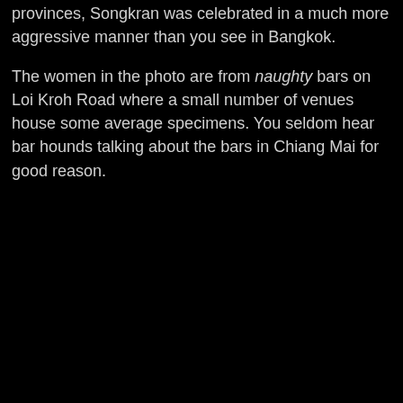provinces, Songkran was celebrated in a much more aggressive manner than you see in Bangkok.

The women in the photo are from naughty bars on Loi Kroh Road where a small number of venues house some average specimens. You seldom hear bar hounds talking about the bars in Chiang Mai for good reason.